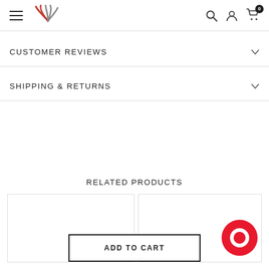Navigation bar with hamburger menu, logo, search, account, and cart icons
CUSTOMER REVIEWS
SHIPPING & RETURNS
RELATED PRODUCTS
[Figure (screenshot): Two product card placeholders side by side]
ADD TO CART